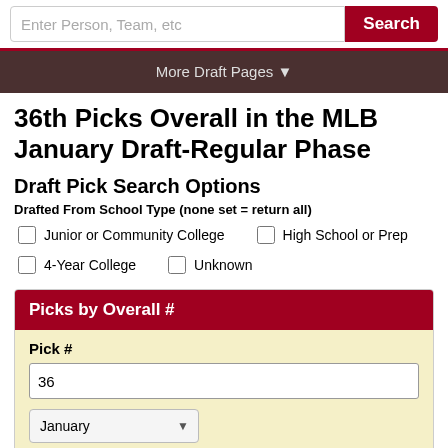Enter Person, Team, etc [Search]
More Draft Pages ▼
36th Picks Overall in the MLB January Draft-Regular Phase
Draft Pick Search Options
Drafted From School Type (none set = return all)
Junior or Community College
High School or Prep
4-Year College
Unknown
Picks by Overall #
Pick #
36
January
Get Picks